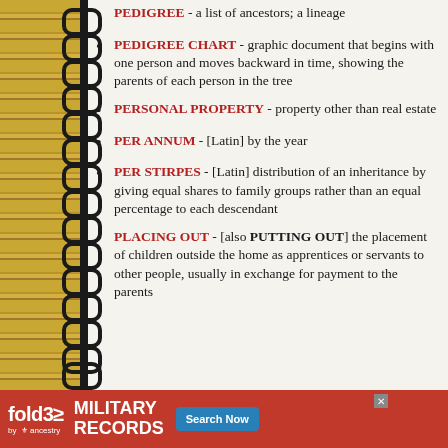PEDIGREE - a list of ancestors; a lineage
PEDIGREE CHART - graphic document that begins with one person and moves backward in time, showing the parents of each person in the tree
PERSONAL PROPERTY - property other than real estate
PER ANNUM - [Latin] by the year
PER STIRPES - [Latin] distribution of an inheritance by giving equal shares to family groups rather than an equal percentage to each descendant
PLACING OUT - [also PUTTING OUT] the placement of children outside the home as apprentices or servants to other people, usually in exchange for payment to the parents
[Figure (infographic): fold3 by Ancestry advertisement banner for Military Records with Search Now button]